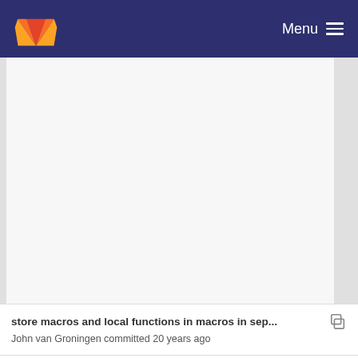Menu
[Figure (other): Large blank/empty content area (file diff or code area, mostly gray/white)]
store macros and local functions in macros in sep...
John van Groningen committed 20 years ago
fixing several bugs
Martin Wierich committed 21 years ago